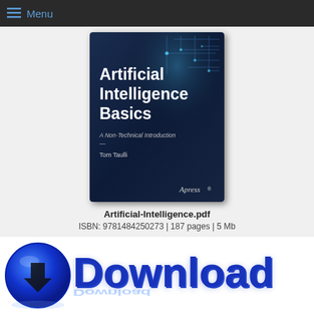Menu
[Figure (illustration): Book cover for 'Artificial Intelligence Basics: A Non-Technical Introduction' by Tom Taulli, published by Apress. Dark navy blue cover with circuit board design in upper right corner.]
Artificial-Intelligence.pdf
ISBN: 9781484250273 | 187 pages | 5 Mb
[Figure (illustration): Blue 3D Download button with a circular blue download icon on the left and large bold blue 'Download' text on the right with a reflection effect below.]